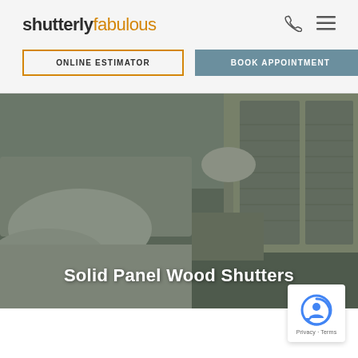shutterlyfabulous — navigation header with ONLINE ESTIMATOR and BOOK APPOINTMENT buttons
[Figure (photo): Bedroom interior with white bed, table lamp, and plantation shutters on window, overlaid with dark tint. Text overlay reads 'Solid Panel Wood Shutters'.]
[Figure (logo): reCAPTCHA badge with Privacy - Terms text]